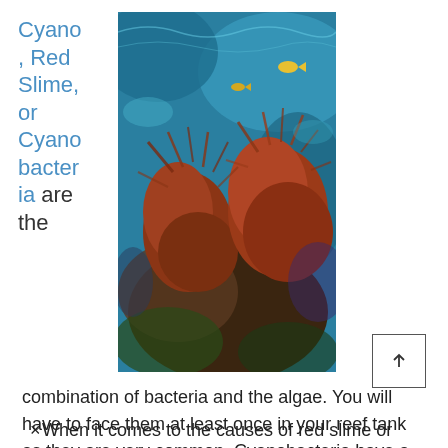Cyano, Red Slime, or Cyanobacteria are the
[Figure (photo): Underwater photo showing red/rust-colored cyanobacteria or algae growth on a coral reef, with blue water and fish visible in the background]
combination of bacteria and the algae. You will have to face them at least once in your reef tank as they are very common. Cyanobacteria have a lot of color variations including red.
When it comes to the causes of red slime or